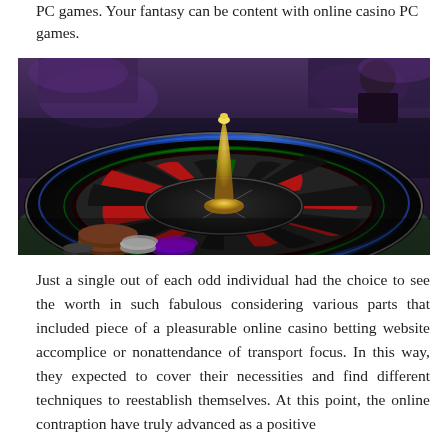PC games. Your fantasy can be content with online casino PC games.
[Figure (photo): A roulette wheel on a casino table, viewed from above at an angle, with casino chips visible in the foreground and a blurred casino background with purple and blue lighting.]
Just a single out of each odd individual had the choice to see the worth in such fabulous considering various parts that included piece of a pleasurable online casino betting website accomplice or nonattendance of transport focus. In this way, they expected to cover their necessities and find different techniques to reestablish themselves. At this point, the online contraption have truly advanced as a positive